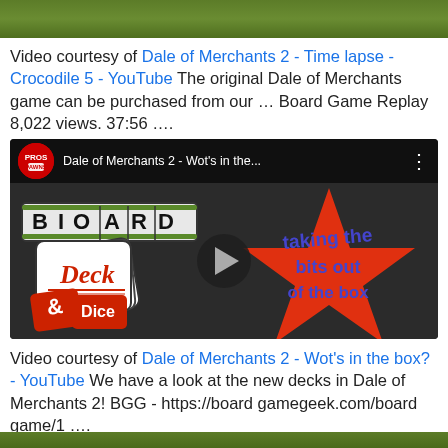[Figure (screenshot): Green grass/background top strip image]
Video courtesy of Dale of Merchants 2 - Time lapse - Crocodile 5 - YouTube The original Dale of Merchants game can be purchased from our … Board Game Replay 8,022 views. 37:56 ….
[Figure (screenshot): YouTube video thumbnail for Dale of Merchants 2 - Wot's in the... showing Board Deck & Dice logo on left and a red star with text 'taking the bits out of the box' on right, with play button overlay]
Video courtesy of Dale of Merchants 2 - Wot's in the box? - YouTube We have a look at the new decks in Dale of Merchants 2! BGG - https://boardgamegeek.com/board game/1 ….
[Figure (screenshot): Green grass/background bottom strip image]